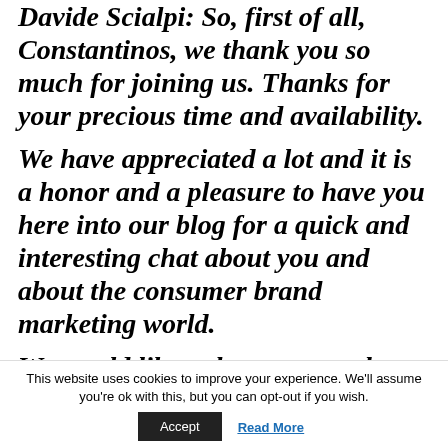Davide Scialpi: So, first of all, Constantinos, we thank you so much for joining us. Thanks for your precious time and availability.
We have appreciated a lot and it is a honor and a pleasure to have you here into our blog for a quick and interesting chat about you and about the consumer brand marketing world.
We would like to know more about you as a marketing professional
This website uses cookies to improve your experience. We'll assume you're ok with this, but you can opt-out if you wish.
Accept
Read More